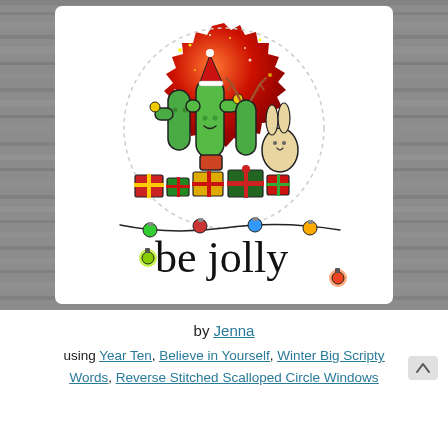[Figure (photo): A handmade Christmas card featuring cartoon cacti with a Santa hat and reindeer antlers, a bunny, Christmas gifts, on a red scalloped circular background with glitter/snow, and 'be jolly' written in script with Christmas lights. The card is photographed on a gray wood background.]
by Jenna
using Year Ten, Believe in Yourself, Winter Big Scripty Words, Reverse Stitched Scalloped Circle Windows